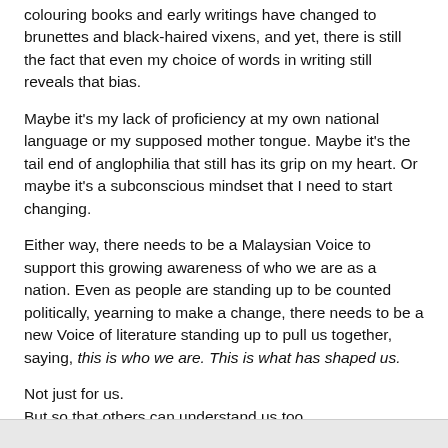colouring books and early writings have changed to brunettes and black-haired vixens, and yet, there is still the fact that even my choice of words in writing still reveals that bias.
Maybe it's my lack of proficiency at my own national language or my supposed mother tongue. Maybe it's the tail end of anglophilia that still has its grip on my heart. Or maybe it's a subconscious mindset that I need to start changing.
Either way, there needs to be a Malaysian Voice to support this growing awareness of who we are as a nation. Even as people are standing up to be counted politically, yearning to make a change, there needs to be a new Voice of literature standing up to pull us together, saying, this is who we are. This is what has shaped us.
Not just for us.
But so that others can understand us too.